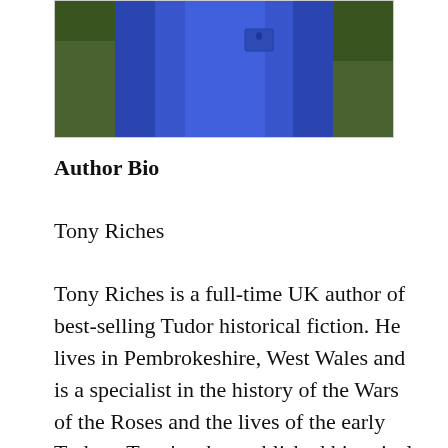[Figure (photo): Partial photo of a person wearing a blue shirt, cropped showing the torso/shoulder area against a greenish background]
Author Bio
Tony Riches
Tony Riches is a full-time UK author of best-selling Tudor historical fiction. He lives in Pembrokeshire, West Wales and is a specialist in the history of the Wars of the Roses and the lives of the early Tudors. Tony's other published historical fiction novels include: Owen – Book One Of The Tudor Trilogy, Jasper – Book Two Of The Tudor Trilogy, Henry – Book Three Of The